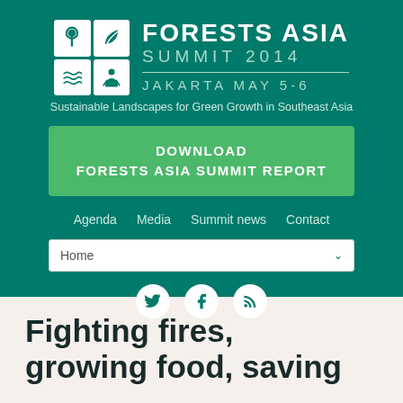[Figure (logo): Forests Asia Summit 2014 logo with four icon grid (tree, wave/leaf, water waves, person) and text: FORESTS ASIA SUMMIT 2014 JAKARTA MAY 5-6, Sustainable Landscapes for Green Growth in Southeast Asia]
DOWNLOAD FORESTS ASIA SUMMIT REPORT
Agenda   Media   Summit news   Contact
Home
[Figure (infographic): Social media icons: Twitter, Facebook, RSS feed — white circles on teal background]
Fighting fires, growing food, saving